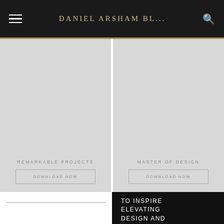DANIEL ARSHAM BL...
[Figure (screenshot): Left card with light gray background and title REMARKABLE PROJECTS with DOWNLOAD NOW button]
[Figure (screenshot): Right card with light gray background and title MASTER OF DESIGN with DOWNLOAD NOW button]
TO INSPIRE ELEVATING DESIGN AND CRAFTSMANS